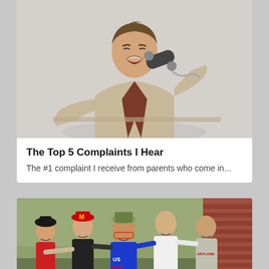[Figure (photo): Man in beige blazer yelling into an old-style telephone handset, looking frustrated, on a light gray background]
The Top 5 Complaints I Hear
The #1 complaint I receive from parents who come in...
[Figure (photo): Group of young baseball players and a coach in a US Elite Baseball hoodie, posing together outdoors near a brick building]
Mark Helsel